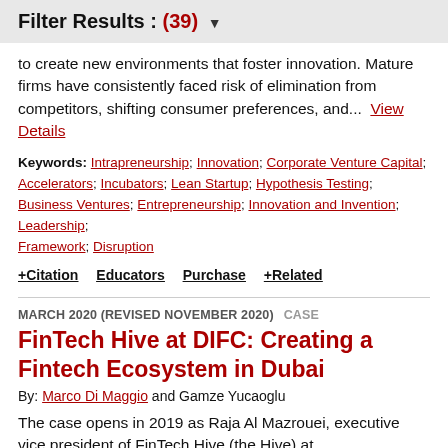Filter Results : (39)
to create new environments that foster innovation. Mature firms have consistently faced risk of elimination from competitors, shifting consumer preferences, and...  View Details
Keywords: Intrapreneurship; Innovation; Corporate Venture Capital; Accelerators; Incubators; Lean Startup; Hypothesis Testing; Business Ventures; Entrepreneurship; Innovation and Invention; Leadership; Framework; Disruption
+ Citation   Educators   Purchase   + Related
MARCH 2020 (REVISED NOVEMBER 2020)  CASE
FinTech Hive at DIFC: Creating a Fintech Ecosystem in Dubai
By: Marco Di Maggio and Gamze Yucaoglu
The case opens in 2019 as Raja Al Mazrouei, executive vice president of FinTech Hive (the Hive) at